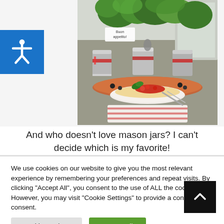[Figure (photo): Food photo showing a bowl of pasta with tomatoes and basil, surrounded by herb plants in tin cans decorated with red gingham ribbons, with a 'Buon appetito!' sign, on a kitchen counter]
And who doesn't love mason jars? I can't decide which is my favorite!
We use cookies on our website to give you the most relevant experience by remembering your preferences and repeat visits. By clicking "Accept All", you consent to the use of ALL the cookies. However, you may visit "Cookie Settings" to provide a controlled consent.